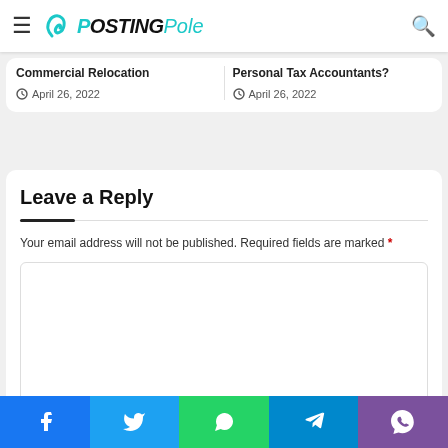PostingPole
Commercial Relocation
April 26, 2022
Personal Tax Accountants?
April 26, 2022
Leave a Reply
Your email address will not be published. Required fields are marked *